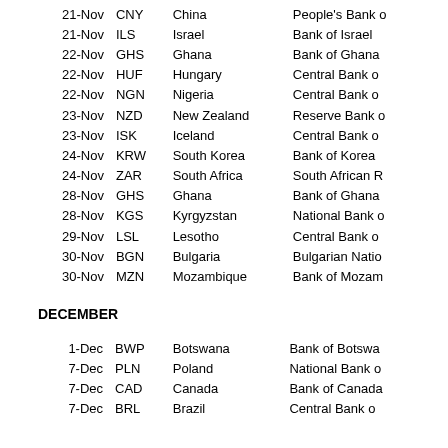| Date | Currency | Country | Central Bank |
| --- | --- | --- | --- |
| 21-Nov | CNY | China | People's Bank o... |
| 21-Nov | ILS | Israel | Bank of Israel |
| 22-Nov | GHS | Ghana | Bank of Ghana |
| 22-Nov | HUF | Hungary | Central Bank o... |
| 22-Nov | NGN | Nigeria | Central Bank o... |
| 23-Nov | NZD | New Zealand | Reserve Bank o... |
| 23-Nov | ISK | Iceland | Central Bank o... |
| 24-Nov | KRW | South Korea | Bank of Korea |
| 24-Nov | ZAR | South Africa | South African R... |
| 28-Nov | GHS | Ghana | Bank of Ghana |
| 28-Nov | KGS | Kyrgyzstan | National Bank o... |
| 29-Nov | LSL | Lesotho | Central Bank o... |
| 30-Nov | BGN | Bulgaria | Bulgarian Natio... |
| 30-Nov | MZN | Mozambique | Bank of Mozam... |
DECEMBER
| Date | Currency | Country | Central Bank |
| --- | --- | --- | --- |
| 1-Dec | BWP | Botswana | Bank of Botswa... |
| 7-Dec | PLN | Poland | National Bank o... |
| 7-Dec | CAD | Canada | Bank of Canada |
| 7-Dec | BRL | Brazil | Central Bank o... |